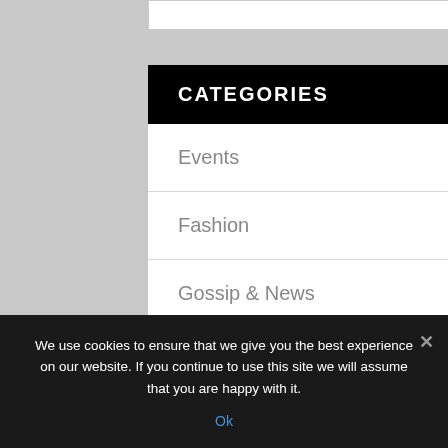CATEGORIES
Events
Fashion
Gossip & News
Interviews
Movies
We use cookies to ensure that we give you the best experience on our website. If you continue to use this site we will assume that you are happy with it.
Ok